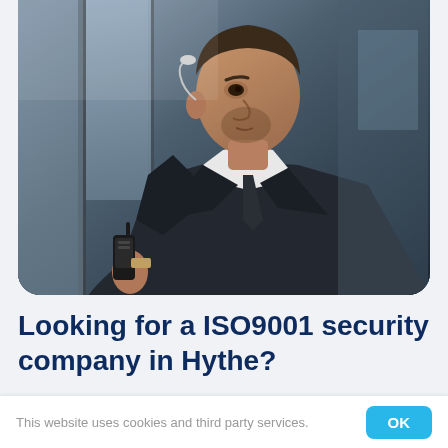[Figure (photo): A male security guard in a dark suit with an earpiece, holding a walkie-talkie radio up to his face, looking sideways. Photo shown in a rounded-bottom card against a light gray background.]
Looking for a ISO9001 security company in Hythe?
This website uses cookies and third party services.